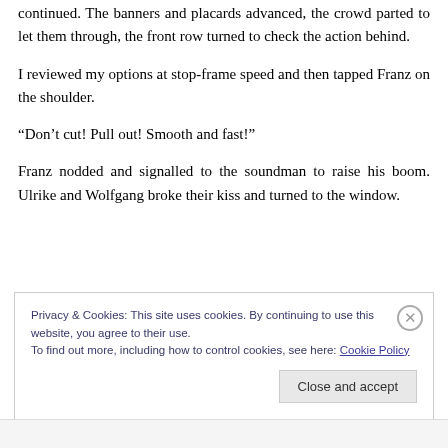continued. The banners and placards advanced, the crowd parted to let them through, the front row turned to check the action behind.
I reviewed my options at stop-frame speed and then tapped Franz on the shoulder.
“Don’t cut! Pull out! Smooth and fast!”
Franz nodded and signalled to the soundman to raise his boom. Ulrike and Wolfgang broke their kiss and turned to the window.
Privacy & Cookies: This site uses cookies. By continuing to use this website, you agree to their use.
To find out more, including how to control cookies, see here: Cookie Policy
Close and accept